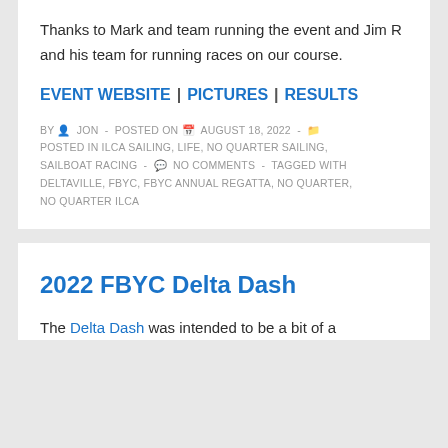Thanks to Mark and team running the event and Jim R and his team for running races on our course.
EVENT WEBSITE | PICTURES | RESULTS
BY JON - POSTED ON AUGUST 18, 2022 - POSTED IN ILCA SAILING, LIFE, NO QUARTER SAILING, SAILBOAT RACING - NO COMMENTS - TAGGED WITH DELTAVILLE, FBYC, FBYC ANNUAL REGATTA, NO QUARTER, NO QUARTER ILCA
2022 FBYC Delta Dash
The Delta Dash was intended to be a bit of a